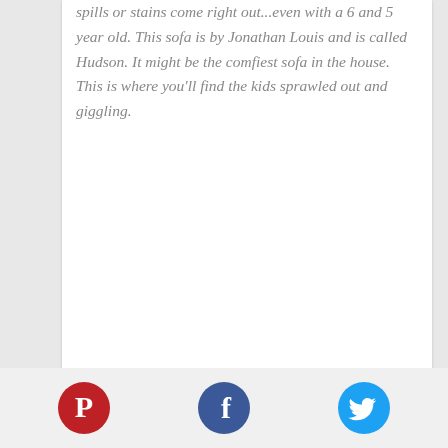spills or stains come right out...even with a 6 and 5 year old. This sofa is by Jonathan Louis and is called Hudson. It might be the comfiest sofa in the house. This is where you'll find the kids sprawled out and giggling.
[Figure (illustration): Three social media icon buttons: Pinterest (red circle with P), Facebook (dark blue circle with f), Twitter (light blue circle with bird icon)]